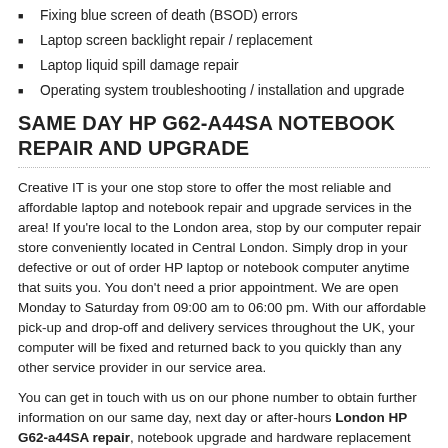Fixing blue screen of death (BSOD) errors
Laptop screen backlight repair / replacement
Laptop liquid spill damage repair
Operating system troubleshooting / installation and upgrade
SAME DAY HP G62-A44SA NOTEBOOK REPAIR AND UPGRADE
Creative IT is your one stop store to offer the most reliable and affordable laptop and notebook repair and upgrade services in the area! If you're local to the London area, stop by our computer repair store conveniently located in Central London. Simply drop in your defective or out of order HP laptop or notebook computer anytime that suits you. You don't need a prior appointment. We are open Monday to Saturday from 09:00 am to 06:00 pm. With our affordable pick-up and drop-off and delivery services throughout the UK, your computer will be fixed and returned back to you quickly than any other service provider in our service area.
You can get in touch with us on our phone number to obtain further information on our same day, next day or after-hours London HP G62-a44SA repair, notebook upgrade and hardware replacement services provided by Creative IT for all notebook models. We also without delay